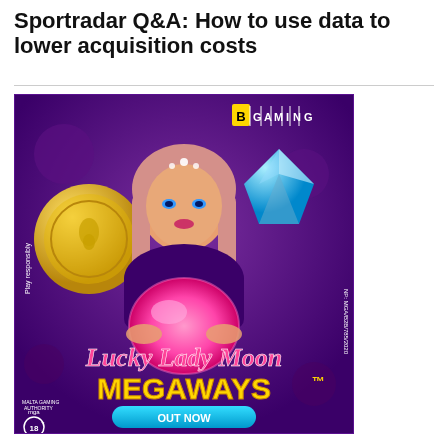Sportradar Q&A: How to use data to lower acquisition costs
[Figure (illustration): BGaming advertisement for Lucky Lady Moon Megaways slot game. Features an illustrated woman with pink/blonde hair holding a glowing pink crystal ball, surrounded by gold coins and blue gems on a purple background. Text reads: BGAMING, Lucky Lady Moon, MEGAWAYS™, OUT NOW, Play responsibly, mga Malta Gaming Authority, NP: MGA/B2B/785/2020, 18+]